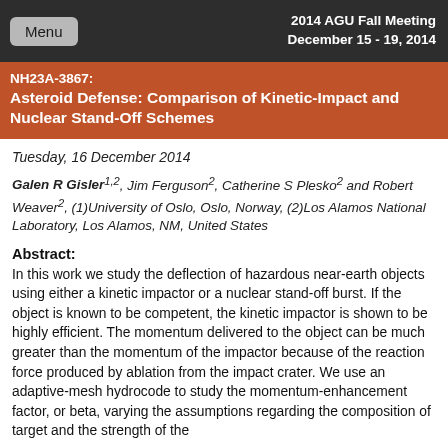2014 AGU Fall Meeting
December 15 - 19, 2014
NH23A-3867: Asteroid Defense: Comparison of Kinetic-Impact and Nuclear Stand-Off Schemes
Tuesday, 16 December 2014
Galen R Gisler1,2, Jim Ferguson2, Catherine S Plesko2 and Robert Weaver2, (1)University of Oslo, Oslo, Norway, (2)Los Alamos National Laboratory, Los Alamos, NM, United States
Abstract:
In this work we study the deflection of hazardous near-earth objects using either a kinetic impactor or a nuclear stand-off burst. If the object is known to be competent, the kinetic impactor is shown to be highly efficient. The momentum delivered to the object can be much greater than the momentum of the impactor because of the reaction force produced by ablation from the impact crater. We use an adaptive-mesh hydrocode to study the momentum-enhancement factor, or beta, varying the assumptions regarding the composition of target and the strength of the